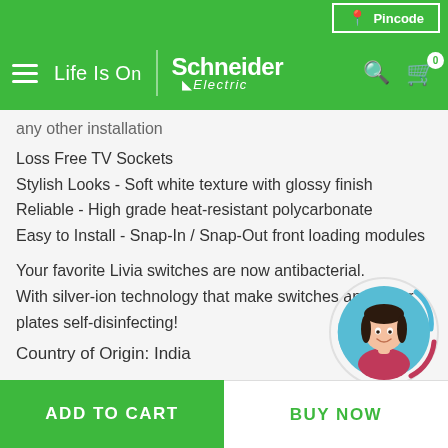Pincode | Life Is On | Schneider Electric
any other installation
Loss Free TV Sockets
Stylish Looks - Soft white texture with glossy finish
Reliable - High grade heat-resistant polycarbonate
Easy to Install - Snap-In / Snap-Out front loading modules
Your favorite Livia switches are now antibacterial. With silver-ion technology that make switches and cover plates self-disinfecting!
Country of Origin: India
[Figure (illustration): Circular avatar illustration of a female chatbot assistant in a red top, with decorative blue and red arc rings around the circle]
ADD TO CART | BUY NOW